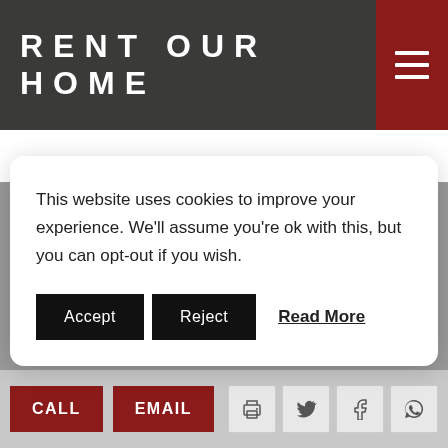RENT OUR HOME
Listings
Home › La Bergerie
This website uses cookies to improve your experience. We'll assume you're ok with this, but you can opt-out if you wish.
Accept   Reject   Read More
From €6,650 per week
CALL   EMAIL